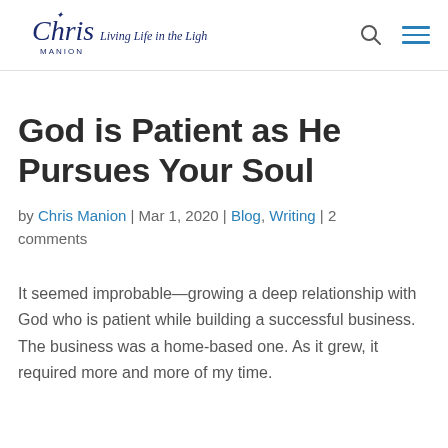Chris Manion — Living Life in the Light
God is Patient as He Pursues Your Soul
by Chris Manion | Mar 1, 2020 | Blog, Writing | 2 comments
It seemed improbable—growing a deep relationship with God who is patient while building a successful business. The business was a home-based one. As it grew, it required more and more of my time.